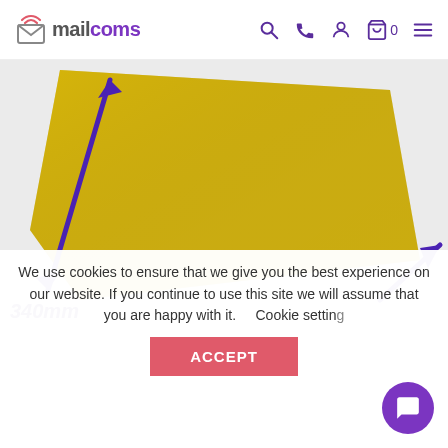mailcoms
[Figure (photo): Yellow padded envelope/bubble mailer product photo with purple measurement arrows indicating dimensions, partially showing '340mm' label at bottom left.]
We use cookies to ensure that we give you the best experience on our website. If you continue to use this site we will assume that you are happy with it.    Cookie settings
ACCEPT